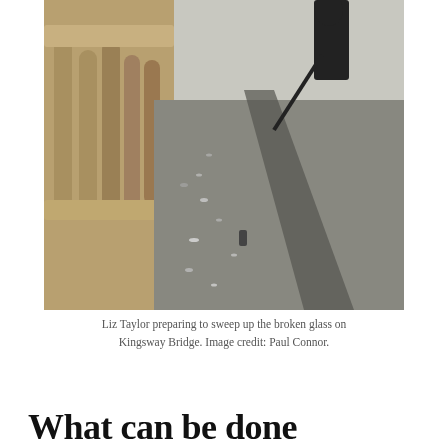[Figure (photo): A person standing on Kingsway Bridge with a broom/sweeping tool, casting a long shadow on the pavement. Broken glass and debris visible along the stone balustrade of the bridge. River visible to the left. Bright winter sunlight.]
Liz Taylor preparing to sweep up the broken glass on Kingsway Bridge. Image credit: Paul Connor.
What can be done